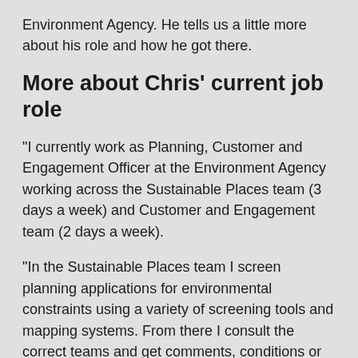Environment Agency. He tells us a little more about his role and how he got there.
More about Chris' current job role
“I currently work as Planning, Customer and Engagement Officer at the Environment Agency working across the Sustainable Places team (3 days a week) and Customer and Engagement team (2 days a week).
“In the Sustainable Places team I screen planning applications for environmental constraints using a variety of screening tools and mapping systems. From there I consult the correct teams and get comments, conditions or objections to respond to the Local Planning Authority, as the Environment Agency is a statutory consultee.
“More on the Customer and Engagement team...